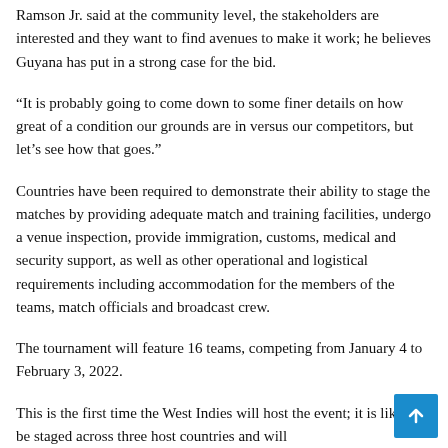Ramson Jr. said at the community level, the stakeholders are interested and they want to find avenues to make it work; he believes Guyana has put in a strong case for the bid.
“It is probably going to come down to some finer details on how great of a condition our grounds are in versus our competitors, but let’s see how that goes.”
Countries have been required to demonstrate their ability to stage the matches by providing adequate match and training facilities, undergo a venue inspection, provide immigration, customs, medical and security support, as well as other operational and logistical requirements including accommodation for the members of the teams, match officials and broadcast crew.
The tournament will feature 16 teams, competing from January 4 to February 3, 2022.
This is the first time the West Indies will host the event; it is likely to be staged across three host countries and will